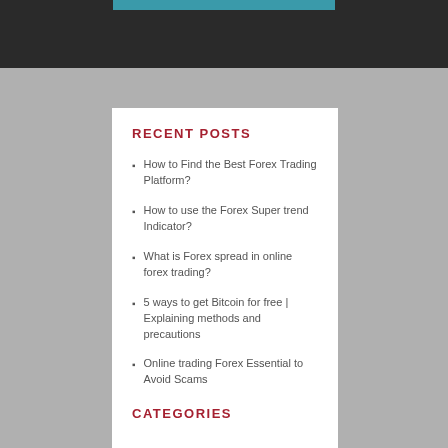RECENT POSTS
How to Find the Best Forex Trading Platform?
How to use the Forex Super trend Indicator?
What is Forex spread in online forex trading?
5 ways to get Bitcoin for free | Explaining methods and precautions
Online trading Forex Essential to Avoid Scams
CATEGORIES